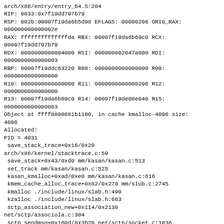arch/x86/entry/entry_64.S:204
RIP: 0033:0x7f19dd797b79
RSP: 002b:00007f19da6b5d98 EFLAGS: 00000206 ORIG_RAX: 000000000000002e
RAX: ffffffffffffffda RBX: 00007f19da6b69c0 RCX: 00007f19dd797b79
RDX: 0000000000004000 RSI: 000000002047a000 RDI: 0000000000000003
RBP: 00007f19ddc63220 R08: 0000000000000000 R09: 0000000000000000
R10: 0000000000000000 R11: 0000000000000206 R12: 0000000000000000
R13: 00007f19da6b69c0 R14: 00007f19de08e040 R15: 0000000000000003
Object at ffff8800681b1100, in cache kmalloc-4096 size: 4096
Allocated:
PID = 4031
 save_stack_trace+0x16/0x20
arch/x86/kernel/stacktrace.c:59
 save_stack+0x43/0xd0 mm/kasan/kasan.c:513
 set_track mm/kasan/kasan.c:525
 kasan_kmalloc+0xad/0xe0 mm/kasan/kasan.c:616
 kmem_cache_alloc_trace+0x82/0x270 mm/slub.c:2745
 kmalloc ./include/linux/slab.h:490
 kzalloc ./include/linux/slab.h:663
 sctp_association_new+0x114/0x2130
net/sctp/associola.c:304
 sctp_sendmsg+0x160d/0x3b20 net/sctp/socket.c:1836
 inet_sendmsg+0x164/0x5b0 net/ipv4/af_inet.c:762